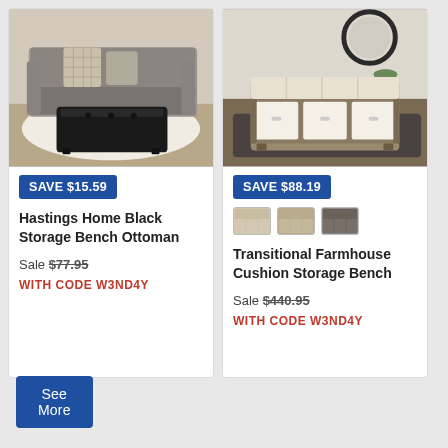[Figure (photo): Photo of a black storage bench ottoman in front of a grey sofa with decorative pillows on a white rug]
SAVE $15.59
Hastings Home Black Storage Bench Ottoman
Sale $77.95
WITH CODE W3ND4Y
[Figure (photo): Photo of a transitional farmhouse cushion storage bench with three fabric bins, cushioned top, round mirror in background]
SAVE $88.19
[Figure (other): Three color variant swatches of the storage bench]
Transitional Farmhouse Cushion Storage Bench
Sale $440.95
WITH CODE W3ND4Y
See More